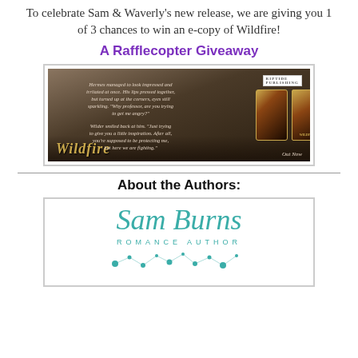To celebrate Sam & Waverly's new release, we are giving you 1 of 3 chances to win an e-copy of Wildfire!
A Rafflecopter Giveaway
[Figure (illustration): Wildfire book banner with quote text and book covers on dark background. Quote: 'Hermes managed to look impressed and irritated at once. His lips pressed together, but turned up at the corners, eyes still sparkling. "Why professor, are you trying to get me angry?" Wilder smiled back at him. "Just trying to give you a little inspiration. After all, you're supposed to be protecting me, but here we are fighting."' Title: Wildfire Out Now]
About the Authors:
[Figure (logo): Sam Burns Romance Author logo in teal script lettering with decorative dots]